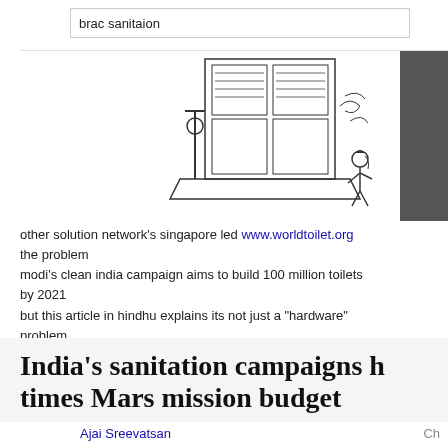brac sanitaion
[Figure (illustration): Line drawing illustration of a sanitation/toilet facility with a person standing beside it and water/plumbing fixtures visible]
other solution network's singapore led www.worldtoilet.org the problem
modi's clean india campaign aims to build 100 million toilets by 2021
but this article in hindhu explains its not just a "hardware" problem
India's sanitation campaigns h times Mars mission budget
Ajai Sreevatsan